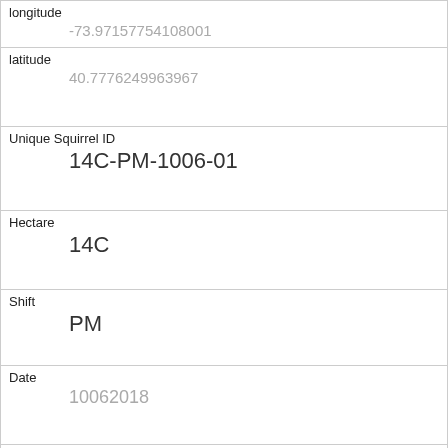| Field | Value |
| --- | --- |
| longitude | -73.97157754108001 |
| latitude | 40.7776249963967 |
| Unique Squirrel ID | 14C-PM-1006-01 |
| Hectare | 14C |
| Shift | PM |
| Date | 10062018 |
| Hectare Squirrel Number | 1 |
| Age | Adult |
| Primary Fur Color | Gray |
| Highlight Fur Color | Cinnamon |
| Combination of Primary and Highlight Color | Gray+Cinnamon |